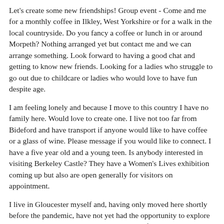Let's create some new friendships! Group event - Come and me for a monthly coffee in Ilkley, West Yorkshire or for a walk in the local countryside. Do you fancy a coffee or lunch in or around Morpeth? Nothing arranged yet but contact me and we can arrange something. Look forward to having a good chat and getting to know new friends. Looking for a ladies who struggle to go out due to childcare or ladies who would love to have fun despite age.
I am feeling lonely and because I move to this country I have no family here. Would love to create one. I live not too far from Bideford and have transport if anyone would like to have coffee or a glass of wine. Please message if you would like to connect. I have a five year old and a young teen. Is anybody interested in visiting Berkeley Castle? They have a Women's Lives exhibition coming up but also are open generally for visitors on appointment.
I live in Gloucester myself and, having only moved here shortly before the pandemic, have not yet had the opportunity to explore Gloucestershire. I'm interested in all kinds of history-related events, but many other things too and would welcome company for visits. All the very best to everyone. Hello, anyone in the North Kent area fancy meeting for coffee, lunch, a walk, a trip to somewhere interesting Please get in touch. I'm happy to meet up for coffee, wine, beer, or lunch in Lincolnshire.